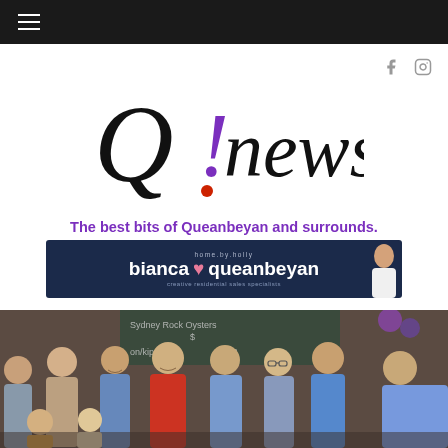≡ (hamburger menu)
[Figure (logo): Q! news logo with purple exclamation mark and red dot]
The best bits of Queanbeyan and surrounds.
[Figure (illustration): Advertisement banner: home.by.holly — bianca ♥ queanbeyan — creative residential sales specialists]
[Figure (photo): Group photo of multiple people standing together indoors, with a chalkboard menu visible in background]